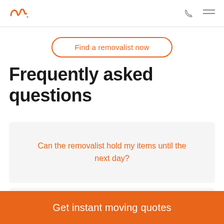Logo and navigation header
Find a removalist now
Frequently asked questions
Can the removalist hold my items until the next day?
If my list of items changes to a lesser
Get instant moving quotes